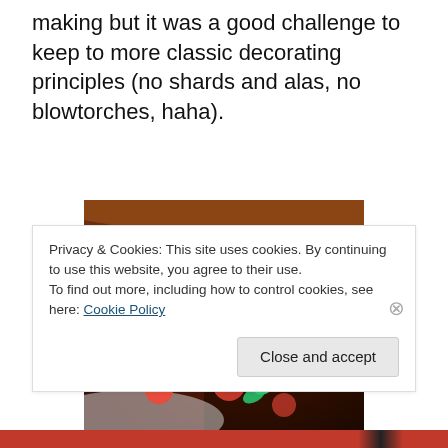making but it was a good challenge to keep to more classic decorating principles (no shards and alas, no blowtorches, haha).
[Figure (photo): Close-up photo of a chocolate cake decorated with strawberries and hazelnuts along the edge, with rich chocolate ganache coating.]
Privacy & Cookies: This site uses cookies. By continuing to use this website, you agree to their use.
To find out more, including how to control cookies, see here: Cookie Policy
Close and accept